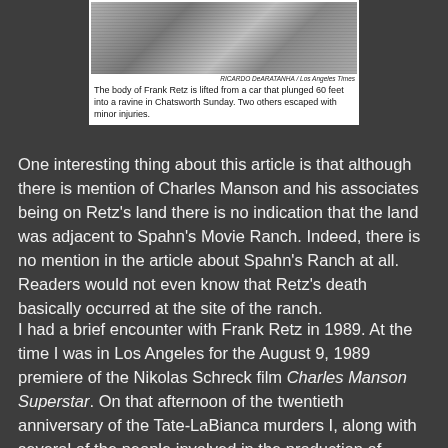[Figure (photo): Black and white newspaper photo showing the body of Frank Retz being lifted from a car that plunged into a ravine]
RICARDO DeARATANHA / Los Angeles Times
The body of Frank Retz is lifted from a car that plunged 60 feet into a ravine in Chatsworth Sunday. Two others escaped with minor injuries.
One interesting thing about this article is that although there is mention of Charles Manson and his associates being on Retz's land there is no indication that the land was adjacent to Spahn's Movie Ranch. Indeed, there is no mention in the article about Spahn's Ranch at all. Readers would not even know that Retz's death basically occurred at the site of the ranch.
I had a brief encounter with Frank Retz in 1989. At the time I was in Los Angeles for the August 9, 1989 premiere of the Nikolas Schreck film Charles Manson Superstar. On that afternoon of the twentieth anniversary of the Tate-LaBianca murders I, along with several of the people involved in the production of Superstar (and the publication of the book The Manson File) went to the site of Spahn's Ranch and were met there by a Lederhosen and cowboy hat-clad Retz. I